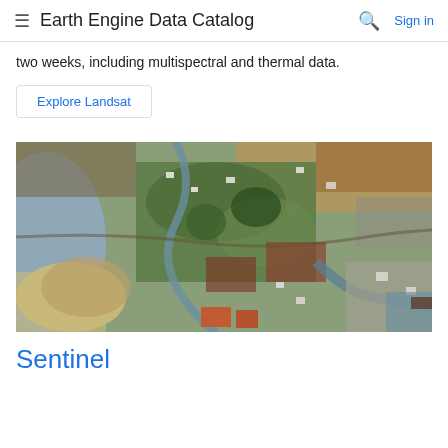Earth Engine Data Catalog  Sign in
two weeks, including multispectral and thermal data.
Explore Landsat
[Figure (photo): Aerial/satellite image showing a coastal landscape with a beach, estuary, urban areas, fields, and vegetation viewed from above.]
Sentinel